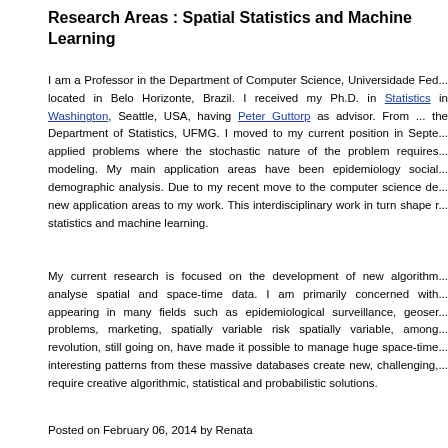Research Areas : Spatial Statistics and Machine Learning
I am a Professor in the Department of Computer Science, Universidade Fed... located in Belo Horizonte, Brazil. I received my Ph.D. in Statistics in Washington, Seattle, USA, having Peter Guttorp as advisor. From ... the Department of Statistics, UFMG. I moved to my current position in Septe... applied problems where the stochastic nature of the problem requires... modeling. My main application areas have been epidemiology social... demographic analysis. Due to my recent move to the computer science de... new application areas to my work. This interdisciplinary work in turn shape r... statistics and machine learning.
My current research is focused on the development of new algorithm... analyse spatial and space-time data. I am primarily concerned with... appearing in many fields such as epidemiological surveillance, geoser... problems, marketing, spatially variable risk spatially variable, among... revolution, still going on, have made it possible to manage huge space-time... interesting patterns from these massive databases create new, challenging,... require creative algorithmic, statistical and probabilistic solutions.
Posted on February 06, 2014 by Renata